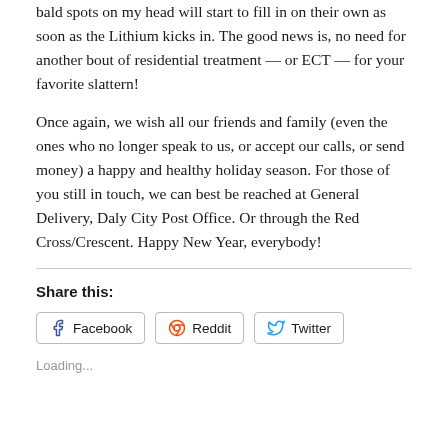bald spots on my head will start to fill in on their own as soon as the Lithium kicks in. The good news is, no need for another bout of residential treatment — or ECT — for your favorite slattern!
Once again, we wish all our friends and family (even the ones who no longer speak to us, or accept our calls, or send money) a happy and healthy holiday season. For those of you still in touch, we can best be reached at General Delivery, Daly City Post Office. Or through the Red Cross/Crescent. Happy New Year, everybody!
Share this:
Facebook Reddit Twitter
Loading...